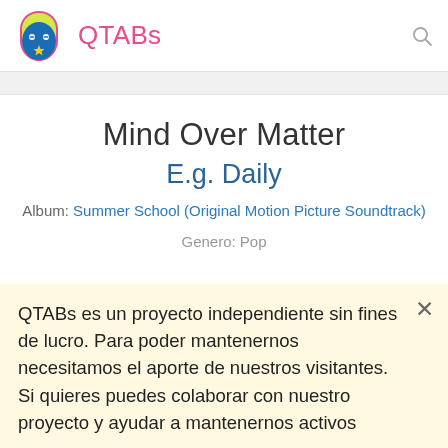QTABs
Mind Over Matter
E.g. Daily
Album: Summer School (Original Motion Picture Soundtrack)
Genero: Pop
QTABs es un proyecto independiente sin fines de lucro. Para poder mantenernos necesitamos el aporte de nuestros visitantes. Si quieres puedes colaborar con nuestro proyecto y ayudar a mantenernos activos